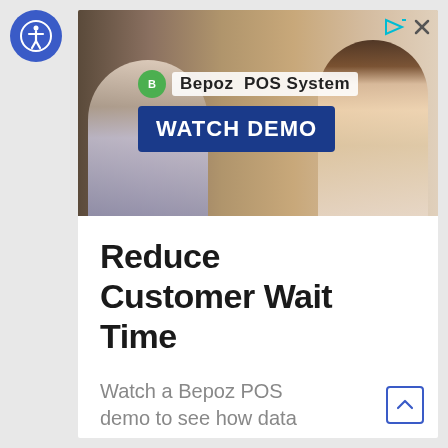[Figure (screenshot): Accessibility icon button — white person-in-circle symbol on blue circular background, top-left corner]
[Figure (photo): Advertisement banner for Bepoz POS System. Two women in a retail store, one holding a payment terminal. Overlay shows Bepoz logo and 'WATCH DEMO' button on dark blue background. Ad controls (play and close icons) at top right.]
Reduce Customer Wait Time
Watch a Bepoz POS demo to see how data